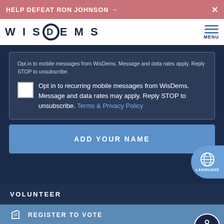HELP DEFEAT RON JOHNSON →
[Figure (logo): WisDems logo with hamburger menu]
Opt in to mobile messages from WisDems. Message and data rates apply. Reply STOP to unsubscribe.
Opt in to recurring mobile messages from WisDems. Message and data rates may apply. Reply STOP to unsubscribe. Terms & Privacy Policy
ADD YOUR NAME
VOLUNTEER
REGISTER TO VOTE